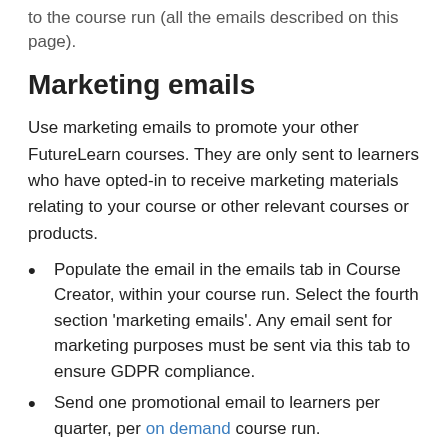to the course run (all the emails described on this page).
Marketing emails
Use marketing emails to promote your other FutureLearn courses. They are only sent to learners who have opted-in to receive marketing materials relating to your course or other relevant courses or products.
Populate the email in the emails tab in Course Creator, within your course run. Select the fourth section 'marketing emails'. Any email sent for marketing purposes must be sent via this tab to ensure GDPR compliance.
Send one promotional email to learners per quarter, per on demand course run.
Send one promotional email to learners per run for a limited run course.
You may mention specific commercial and non-commercial events or products that relate to the